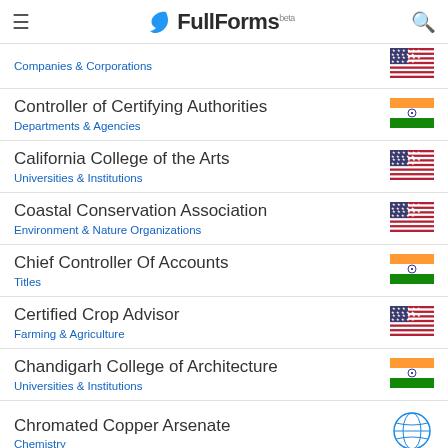FullForms (beta)
Companies & Corporations
Controller of Certifying Authorities — Departments & Agencies
California College of the Arts — Universities & Institutions
Coastal Conservation Association — Environment & Nature Organizations
Chief Controller Of Accounts — Titles
Certified Crop Advisor — Farming & Agriculture
Chandigarh College of Architecture — Universities & Institutions
Chromated Copper Arsenate — Chemistry